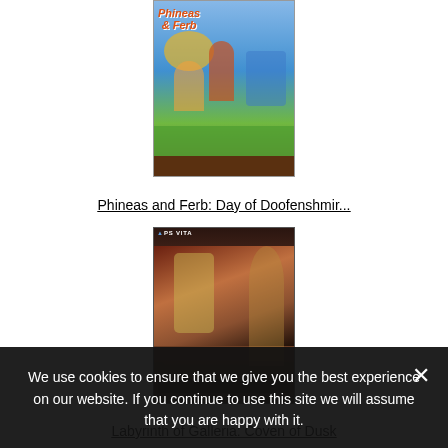[Figure (illustration): Game cover art for Phineas and Ferb: Day of Doofenshmir...]
Phineas and Ferb: Day of Doofenshmir...
[Figure (illustration): PS Vita game cover art for Labyrinth of Galleria: Coven of Dusk]
Labyrinth of Galleria: Coven of Dusk
[Figure (illustration): PS Vita game cover art for a third game (partially visible)]
We use cookies to ensure that we give you the best experience on our website. If you continue to use this site we will assume that you are happy with it.